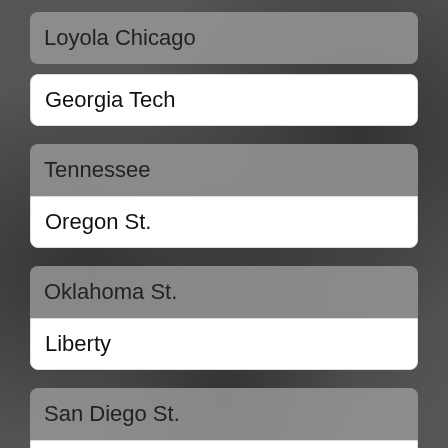Loyola Chicago
Georgia Tech
Tennessee
Oregon St.
Oklahoma St.
Liberty
San Diego St.
Syracuse
West Virginia